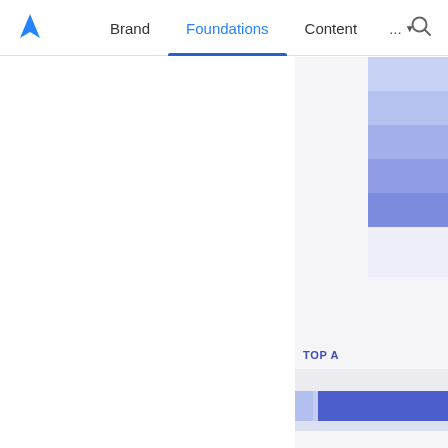Brand  Foundations  Content  ...  🔍
[Figure (screenshot): Atlassian design system website navigation bar with logo, Brand, Foundations (active/selected), Content, and more menu items, plus search icon. Right side shows a partial color palette sidebar with blue/purple color swatches and a 'TOP A' section label.]